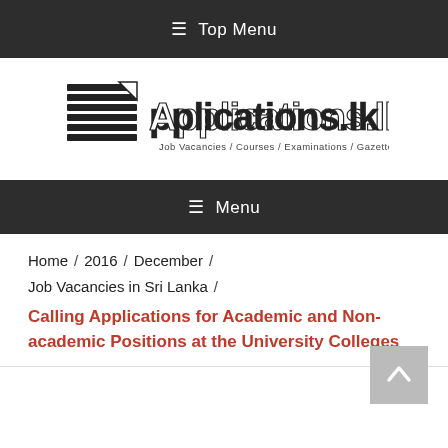≡ Top Menu
[Figure (logo): Applications.lk logo with tagline: Job Vacancies / Courses / Examinations / Gazettes / Applications]
≡ Menu
Home / 2016 / December / Job Vacancies in Sri Lanka /
Calling Applications for Academic and Non-academic Positions at the University Colleges